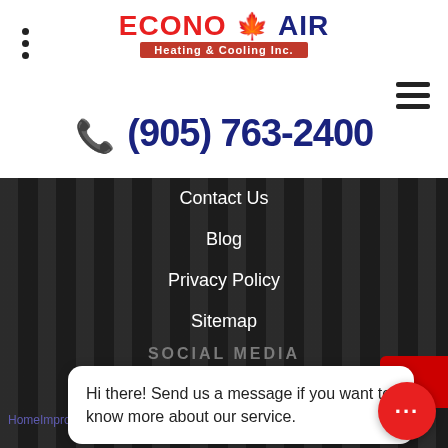[Figure (logo): Econo Air Heating & Cooling Inc. logo with red maple leaf]
(905) 763-2400
Contact Us
Blog
Privacy Policy
Sitemap
SOCIAL MEDIA
Hi there! Send us a message if you want to know more about our service.
HomeImprovements4u Most Popular 2020 Awar
REQUEST A QUOTE